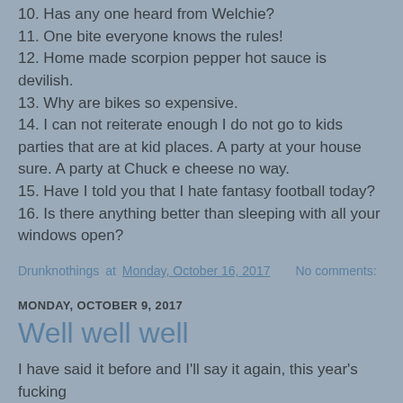10. Has any one heard from Welchie?
11. One bite everyone knows the rules!
12. Home made scorpion pepper hot sauce is devilish.
13. Why are bikes so expensive.
14. I can not reiterate enough I do not go to kids parties that are at kid places. A party at your house sure. A party at Chuck e cheese no way.
15. Have I told you that I hate fantasy football today?
16. Is there anything better than sleeping with all your windows open?
Drunknothings at Monday, October 16, 2017   No comments:
MONDAY, OCTOBER 9, 2017
Well well well
I have said it before and I'll say it again, this year's fucking